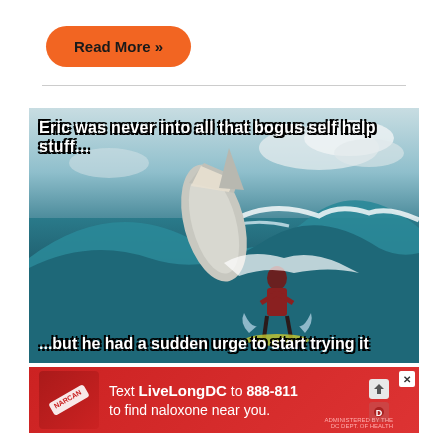Read More »
[Figure (photo): Meme image showing a person surfing a wave with a large shark jumping out of the water behind them. Top text reads: 'Eric was never into all that bogus self help stuff...' Bottom text reads: '...but he had a sudden urge to start trying it']
[Figure (infographic): Red advertisement banner reading 'Text LiveLongDC to 888-811 to find naloxone near you.' with a close button and icons]